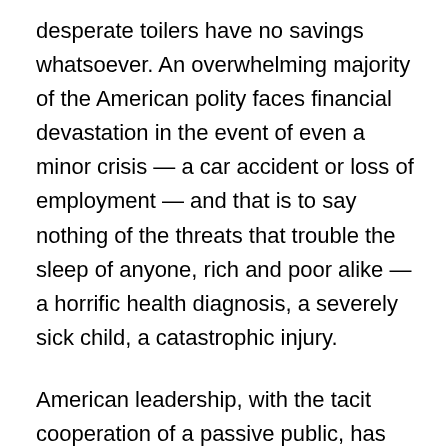desperate toilers have no savings whatsoever. An overwhelming majority of the American polity faces financial devastation in the event of even a minor crisis — a car accident or loss of employment — and that is to say nothing of the threats that trouble the sleep of anyone, rich and poor alike — a horrific health diagnosis, a severely sick child, a catastrophic injury.

American leadership, with the tacit cooperation of a passive public, has created a growth-obsessed economy in which all measurement of success, efficiency and function is attached to profit. Quality of life, and odd notions like human happiness and communal stability, cannot compete for air time against a cacophony of empty buzzwords and bromides: “job